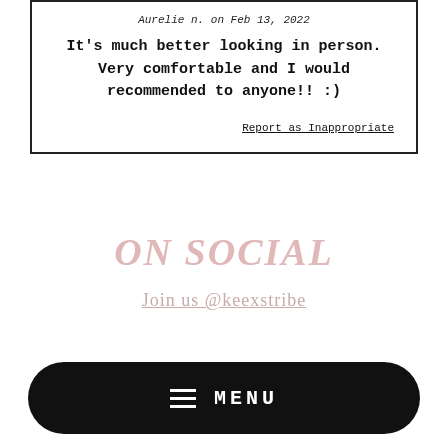Aurelie n. on Feb 13, 2022
It's much better looking in person. Very comfortable and I would recommended to anyone!! :)
Report as Inappropriate
ON SOCIAL
Join us @keexstribe
MENU